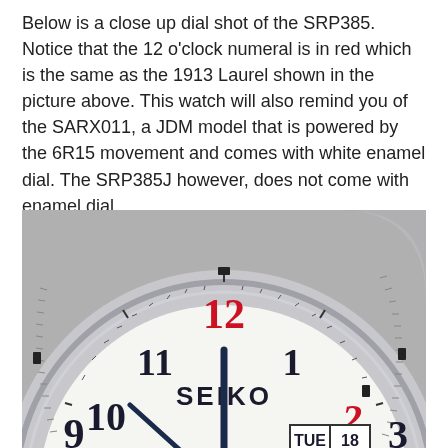Below is a close up dial shot of the SRP385. Notice that the 12 o'clock numeral is in red which is the same as the 1913 Laurel shown in the picture above. This watch will also remind you of the SARX011, a JDM model that is powered by the 6R15 movement and comes with white enamel dial. The SRP385J however, does not come with enamel dial.
[Figure (photo): Close-up photo of a Seiko watch dial (SRP385). White dial with Arabic numerals in black, the 12 o'clock numeral in red. Shows numbers 9, 10, 11, 12 (red), 1, 2, 3 visible. Brand name SEIKO printed in center. Day-date window shows TUE 18. Blue/dark hands visible. Silver bezel with minute markers.]